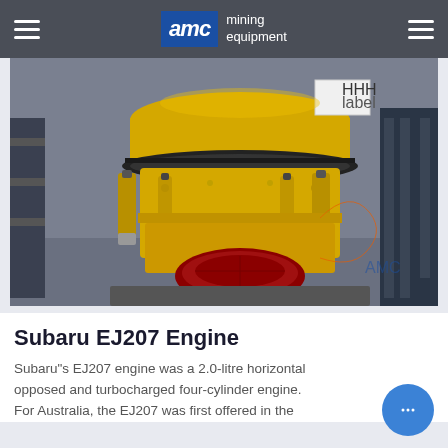AMC mining equipment
[Figure (photo): Large yellow cone crusher / mining equipment machine photographed in a factory or warehouse setting. The machine is bright yellow with a red base component and black gear ring. AMC watermark visible in bottom right.]
Subaru EJ207 Engine
Subaru"s EJ207 engine was a 2.0-litre horizontally opposed and turbocharged four-cylinder engine. For Australia, the EJ207 was first offered in the